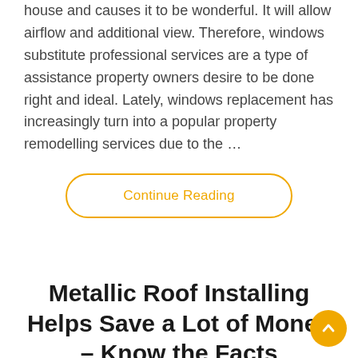house and causes it to be wonderful. It will allow airflow and additional view. Therefore, windows substitute professional services are a type of assistance property owners desire to be done right and ideal. Lately, windows replacement has increasingly turn into a popular property remodelling services due to the …
Continue Reading
Metallic Roof Installing Helps Save a Lot of Money – Know the Facts